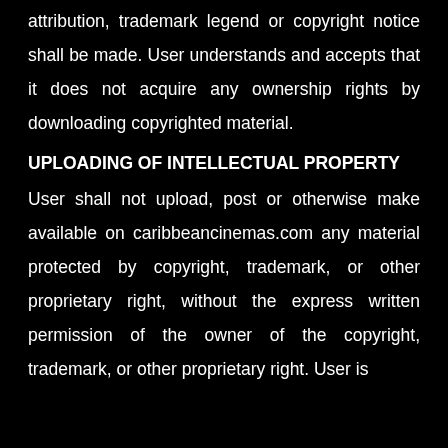attribution, trademark legend or copyright notice shall be made. User understands and accepts that it does not acquire any ownership rights by downloading copyrighted material.
UPLOADING OF INTELLECTUAL PROPERTY
User shall not upload, post or otherwise make available on caribbeancinemas.com any material protected by copyright, trademark, or other proprietary right, without the express written permission of the owner of the copyright, trademark, or other proprietary right. User is